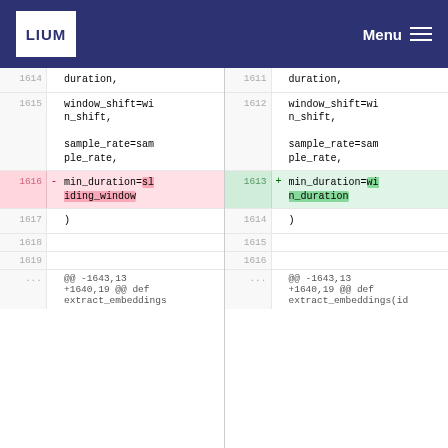LIUM Menu
| Line (old) | Code (old) | Line (new) | Code (new) |
| --- | --- | --- | --- |
| 1614 | duration, | 1611 | duration, |
| 1615 | window_shift=win_shift, | 1612 | window_shift=win_shift, |
|  | sample_rate=sample_rate, |  | sample_rate=sample_rate, |
| 1616 | - min_duration=sliding_window | 1613 | + min_duration=win_duration |
| 1617 | ) | 1614 | ) |
| 1618 |  | 1615 |  |
| 1619 |  | 1616 |  |
| ... | @@ -1643,13 +1640,19 @@ def extract_embeddings | ... | @@ -1643,13 +1640,19 @@ def extract_embeddings(id |